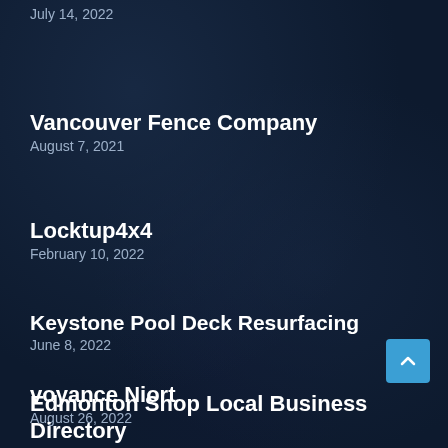July 14, 2022
Vancouver Fence Company
August 7, 2021
Locktup4x4
February 10, 2022
Keystone Pool Deck Resurfacing
June 8, 2022
voyance Niort
August 26, 2022
Edmonton Shop Local Business Directory